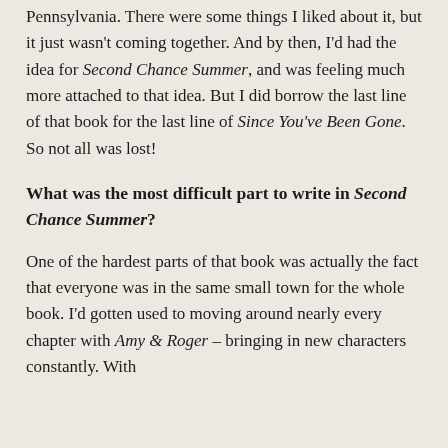Pennsylvania. There were some things I liked about it, but it just wasn't coming together. And by then, I'd had the idea for Second Chance Summer, and was feeling much more attached to that idea. But I did borrow the last line of that book for the last line of Since You've Been Gone. So not all was lost!
What was the most difficult part to write in Second Chance Summer?
One of the hardest parts of that book was actually the fact that everyone was in the same small town for the whole book. I'd gotten used to moving around nearly every chapter with Amy & Roger – bringing in new characters constantly. With